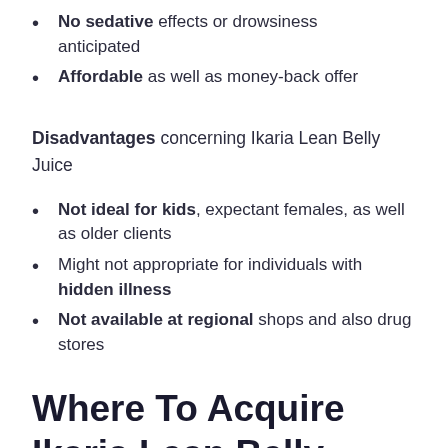No sedative effects or drowsiness anticipated
Affordable as well as money-back offer
Disadvantages concerning Ikaria Lean Belly Juice
Not ideal for kids, expectant females, as well as older clients
Might not appropriate for individuals with hidden illness
Not available at regional shops and also drug stores
Where To Acquire Ikaria Lean Belly Juice For The Most